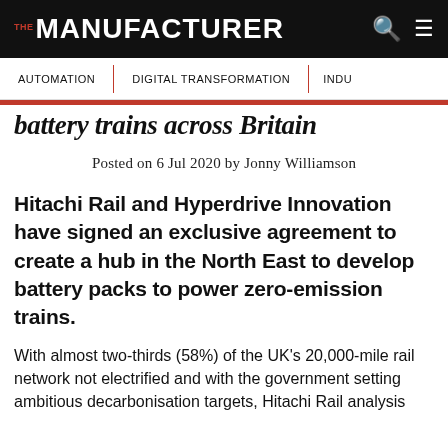THE MANUFACTURER
AUTOMATION | DIGITAL TRANSFORMATION | INDU...
battery trains across Britain
Posted on 6 Jul 2020 by Jonny Williamson
Hitachi Rail and Hyperdrive Innovation have signed an exclusive agreement to create a hub in the North East to develop battery packs to power zero-emission trains.
With almost two-thirds (58%) of the UK's 20,000-mile rail network not electrified and with the government setting ambitious decarbonisation targets, Hitachi Rail analysis